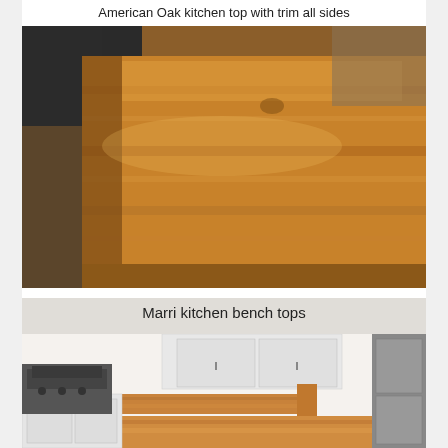American Oak kitchen top with trim all sides
[Figure (photo): Close-up photo of an American Oak kitchen countertop with visible wood grain and trim on all sides, warm golden-brown tones, with dark cabinetry visible in the background.]
[Figure (photo): Photo of a kitchen with Marri kitchen bench tops installed, showing warm honey-toned timber benchtops wrapping around a white kitchen with a stainless steel oven and refrigerator visible.]